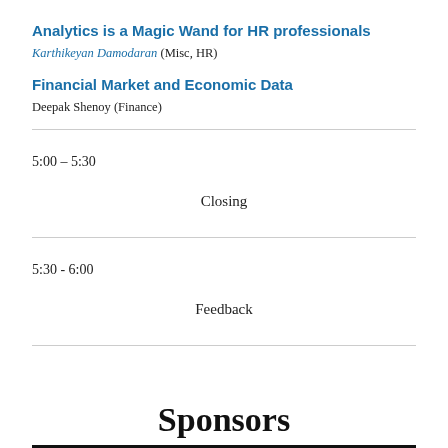Analytics is a Magic Wand for HR professionals
Karthikeyan Damodaran (Misc, HR)
Financial Market and Economic Data
Deepak Shenoy (Finance)
5:00 – 5:30
Closing
5:30 - 6:00
Feedback
Sponsors